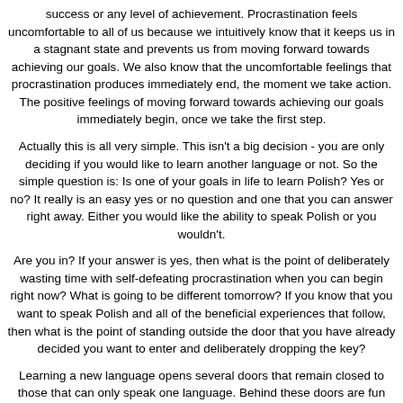success or any level of achievement. Procrastination feels uncomfortable to all of us because we intuitively know that it keeps us in a stagnant state and prevents us from moving forward towards achieving our goals. We also know that the uncomfortable feelings that procrastination produces immediately end, the moment we take action. The positive feelings of moving forward towards achieving our goals immediately begin, once we take the first step.
Actually this is all very simple. This isn't a big decision - you are only deciding if you would like to learn another language or not. So the simple question is: Is one of your goals in life to learn Polish? Yes or no? It really is an easy yes or no question and one that you can answer right away. Either you would like the ability to speak Polish or you wouldn't.
Are you in? If your answer is yes, then what is the point of deliberately wasting time with self-defeating procrastination when you can begin right now? What is going to be different tomorrow? If you know that you want to speak Polish and all of the beneficial experiences that follow, then what is the point of standing outside the door that you have already decided you want to enter and deliberately dropping the key?
Learning a new language opens several doors that remain closed to those that can only speak one language. Behind these doors are fun experiences, new friendships, relationships and career opportunities. Opening the doors is easy – you simply have to do it.